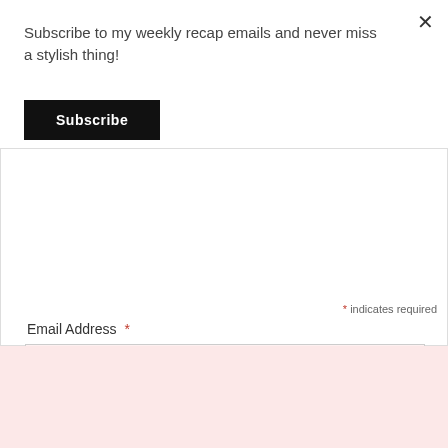Subscribe to my weekly recap emails and never miss a stylish thing!
Subscribe
* indicates required
Email Address *
SUBSCRIBE
FOLLOW ME
[Figure (infographic): Social media icons: Twitter, Instagram, Facebook, Pinterest]
[Figure (logo): Bloglovin badge with count 301]